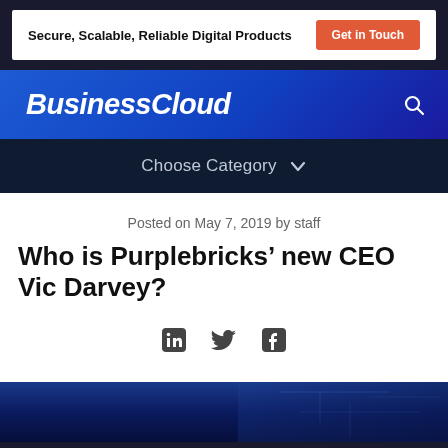Secure, Scalable, Reliable Digital Products | Get in Touch
BusinessCloud
Choose Category
Posted on May 7, 2019 by staff
Who is Purplebricks' new CEO Vic Darvey?
[Figure (other): Social share icons: LinkedIn, Twitter, Facebook]
[Figure (photo): Partial image of a person or background at the bottom of the page, dark blue tones]